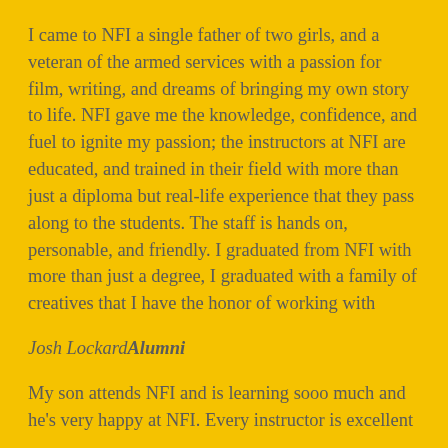I came to NFI a single father of two girls, and a veteran of the armed services with a passion for film, writing, and dreams of bringing my own story to life. NFI gave me the knowledge, confidence, and fuel to ignite my passion; the instructors at NFI are educated, and trained in their field with more than just a diploma but real-life experience that they pass along to the students. The staff is hands on, personable, and friendly. I graduated from NFI with more than just a degree, I graduated with a family of creatives that I have the honor of working with
Josh Lockard Alumni
My son attends NFI and is learning sooo much and he's very happy at NFI. Every instructor is excellent